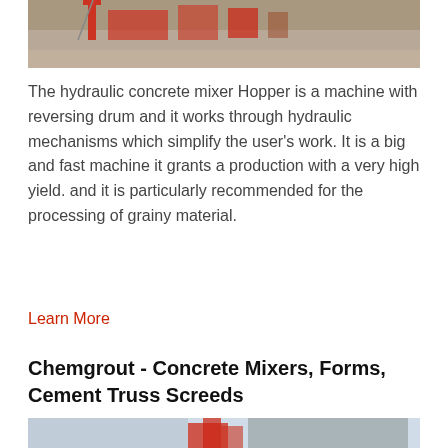[Figure (photo): Top portion of a photo showing industrial concrete mixer equipment on a construction site with red machinery and a ladder visible.]
The hydraulic concrete mixer Hopper is a machine with reversing drum and it works through hydraulic mechanisms which simplify the user's work. It is a big and fast machine it grants a production with a very high yield. and it is particularly recommended for the processing of grainy material.
Learn More
Chemgrout - Concrete Mixers, Forms, Cement Truss Screeds
[Figure (photo): Bottom portion of a photo showing a large industrial concrete mixing plant with red cylindrical silos and a large grey rectangular structure against a cloudy sky.]